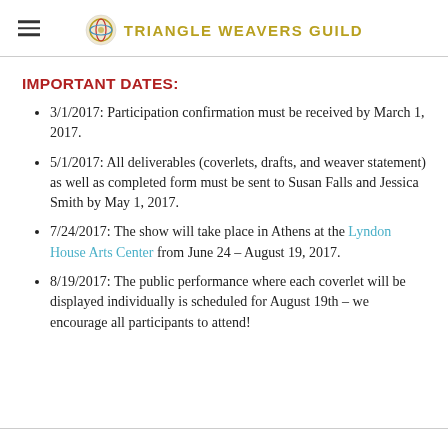Triangle Weavers Guild
IMPORTANT DATES:
3/1/2017: Participation confirmation must be received by March 1, 2017.
5/1/2017: All deliverables (coverlets, drafts, and weaver statement) as well as completed form must be sent to Susan Falls and Jessica Smith by May 1, 2017.
7/24/2017: The show will take place in Athens at the Lyndon House Arts Center from June 24 – August 19, 2017.
8/19/2017: The public performance where each coverlet will be displayed individually is scheduled for August 19th – we encourage all participants to attend!